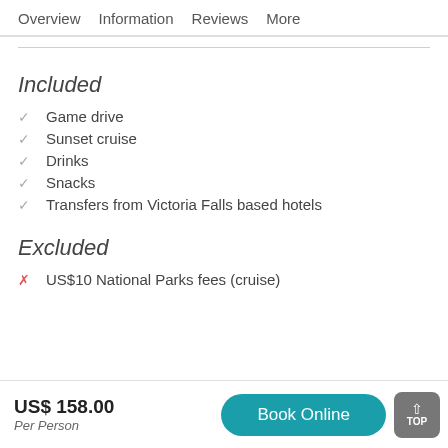Overview  Information  Reviews  More
Included
Game drive
Sunset cruise
Drinks
Snacks
Transfers from Victoria Falls based hotels
Excluded
US$10 National Parks fees (cruise)
US$ 158.00 Per Person
Book Online